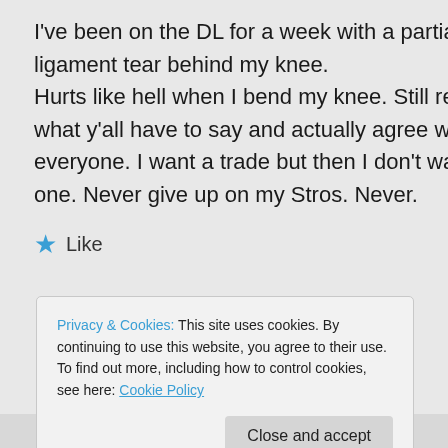I've been on the DL for a week with a partial ligament tear behind my knee. Hurts like hell when I bend my knee. Still read what y'all have to say and actually agree with everyone. I want a trade but then I don't want one. Never give up on my Stros. Never.
Like
Privacy & Cookies: This site uses cookies. By continuing to use this website, you agree to their use. To find out more, including how to control cookies, see here: Cookie Policy
Close and accept
move due to the Springer injury. The